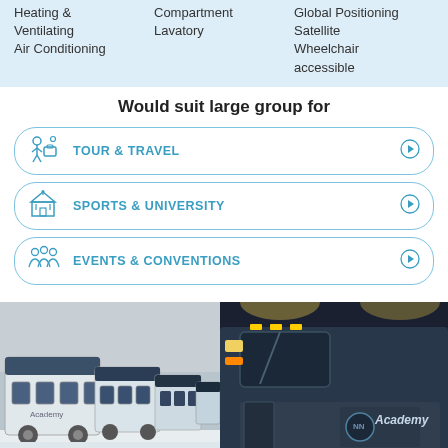Heating & Ventilating Air Conditioning
Compartment Lavatory
Global Positioning Satellite Wheelchair accessible
Would suit large group for
TOUR & TRAVEL
SPORTS & UNIVERSITY
EVENTS & CONVENTIONS
[Figure (photo): Row of white academy buses parked in snow during daytime]
[Figure (photo): Academy bus parked at night under artificial lighting, logo visible on side]